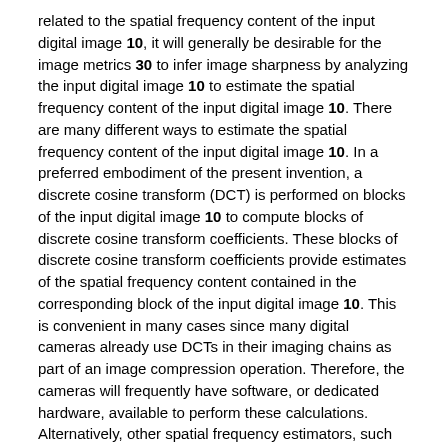related to the spatial frequency content of the input digital image 10, it will generally be desirable for the image metrics 30 to infer image sharpness by analyzing the input digital image 10 to estimate the spatial frequency content of the input digital image 10. There are many different ways to estimate the spatial frequency content of the input digital image 10. In a preferred embodiment of the present invention, a discrete cosine transform (DCT) is performed on blocks of the input digital image 10 to compute blocks of discrete cosine transform coefficients. These blocks of discrete cosine transform coefficients provide estimates of the spatial frequency content contained in the corresponding block of the input digital image 10. This is convenient in many cases since many digital cameras already use DCTs in their imaging chains as part of an image compression operation. Therefore, the cameras will frequently have software, or dedicated hardware, available to perform these calculations. Alternatively, other spatial frequency estimators, such as Fast Fourier Transforms (FFTs), gradient estimator operators, or wavelet transforms, could be used to estimate the spatial frequency content of the input digital image 10. In general, it may be advantageous from a computational efficiency standpoint to utilize spatial frequency estimators that are calculated for other reasons, such as image compression operations, in the process of computing the image metrics 30.
The two-dimensional DCT of an n×n block of input digital image pixels,